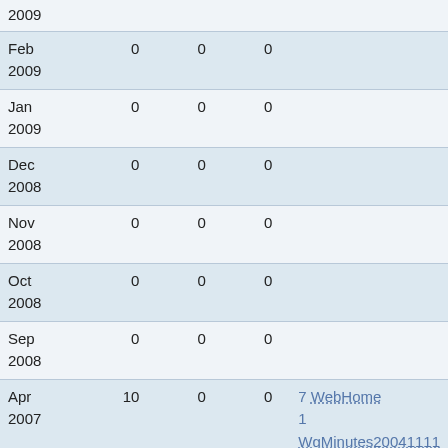| Month | Col1 | Col2 | Col3 | Top pages |
| --- | --- | --- | --- | --- |
| Feb 2009 | 0 | 0 | 0 |  |
| Jan 2009 | 0 | 0 | 0 |  |
| Dec 2008 | 0 | 0 | 0 |  |
| Nov 2008 | 0 | 0 | 0 |  |
| Oct 2008 | 0 | 0 | 0 |  |
| Sep 2008 | 0 | 0 | 0 |  |
| Apr 2007 | 10 | 0 | 0 | 7 WebHome
1 WgMinutes20041111
1 WebStatistics
1 StyleGuide |
| Mar | 173 | 0 | 0 | 79 WebRss |